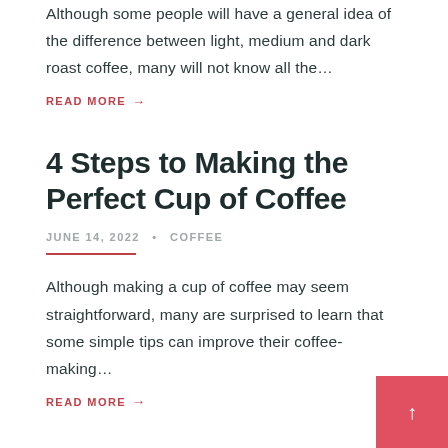Although some people will have a general idea of the difference between light, medium and dark roast coffee, many will not know all the…
READ MORE →
4 Steps to Making the Perfect Cup of Coffee
JUNE 14, 2022 • COFFEE
Although making a cup of coffee may seem straightforward, many are surprised to learn that some simple tips can improve their coffee-making…
READ MORE →
5 Things You May Not Know